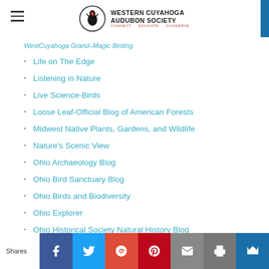Western Cuyahoga Audubon Society — Connect · Educate · Conserve
Life on The Edge
Listening in Nature
Live Science-Birds
Loose Leaf-Official Blog of American Forests
Midwest Native Plants, Gardens, and Wildlife
Nature's Scenic View
Ohio Archaeology Blog
Ohio Bird Sanctuary Blog
Ohio Birds and Biodiversity
Ohio Explorer
Ohio Historical Society Natural History Blog
Ohio Nature Blog by Tom Arbour
Ohio Ornithological Society
Shares | Facebook | Twitter | Google+ | Pinterest | Email | Print | Crown